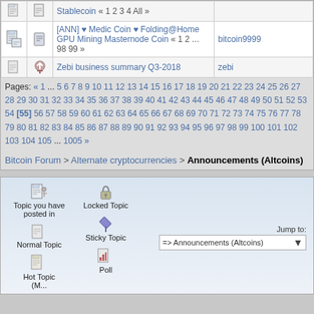|  |  | Topic | Author |
| --- | --- | --- | --- |
| [icon] | [icon] | Stablecoin « 1 2 3 4  All » |  |
| [icon] | [icon] | [ANN] ♥ Medic Coin ♥ Folding@Home GPU Mining Masternode Coin « 1 2 ... 98 99 » | bitcoin9999 |
| [icon] | [icon] | Zebi business summary Q3-2018 | zebi |
Pages: « 1 ... 5 6 7 8 9 10 11 12 13 14 15 16 17 18 19 20 21 22 23 24 25 26 27 28 29 30 31 32 33 34 35 36 37 38 39 40 41 42 43 44 45 46 47 48 49 50 51 52 53 54 [55] 56 57 58 59 60 61 62 63 64 65 66 67 68 69 70 71 72 73 74 75 76 77 78 79 80 81 82 83 84 85 86 87 88 89 90 91 92 93 94 95 96 97 98 99 100 101 102 103 104 105 ... 1005 »
Bitcoin Forum > Alternate cryptocurrencies > Announcements (Altcoins)
[Figure (infographic): Forum legend showing icons for: Topic you have posted in, Locked Topic, Sticky Topic, Normal Topic, Poll, Hot Topic. Also shows Jump to dropdown for Announcements (Altcoins).]